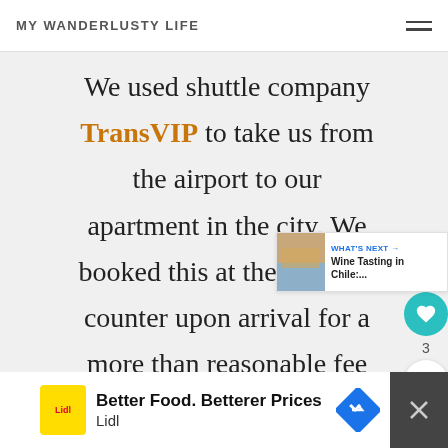MY WANDERLUSTY LIFE
We used shuttle company TransVIP to take us from the airport to our apartment in the city. We booked this at their airport counter upon arrival for a more than reasonable fee and didn't have to wait more
3
WHAT'S NEXT → Wine Tasting in Chile:...
Better Food. Betterer Prices Lidl